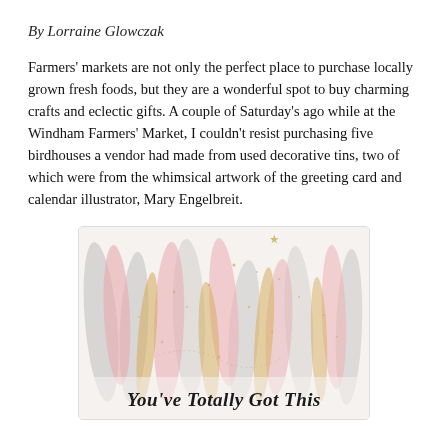By Lorraine Glowczak
Farmers' markets are not only the perfect place to purchase locally grown fresh foods, but they are a wonderful spot to buy charming crafts and eclectic gifts. A couple of Saturday's ago while at the Windham Farmers' Market, I couldn't resist purchasing five birdhouses a vendor had made from used decorative tins, two of which were from the whimsical artwork of the greeting card and calendar illustrator, Mary Engelbreit.
[Figure (illustration): Watercolor/painted illustration with soft pink, grey, and gold brushstrokes on a light background with gold speckles and a star. Text at the bottom reads 'You've Totally Got This' in black handwritten-style lettering.]